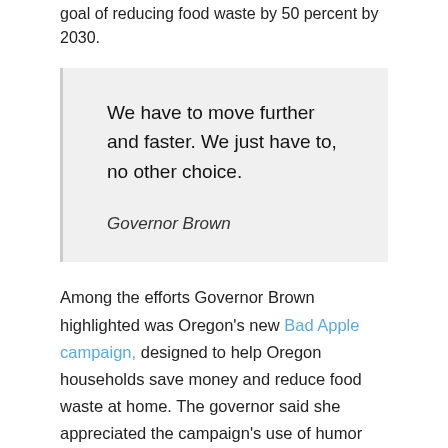goal of reducing food waste by 50 percent by 2030.
We have to move further and faster. We just have to, no other choice.

Governor Brown
Among the efforts Governor Brown highlighted was Oregon's new Bad Apple campaign, designed to help Oregon households save money and reduce food waste at home. The governor said she appreciated the campaign's use of humor and direct appeal to consumers to save money.
You can watch the full presentation at: U.S. Climate